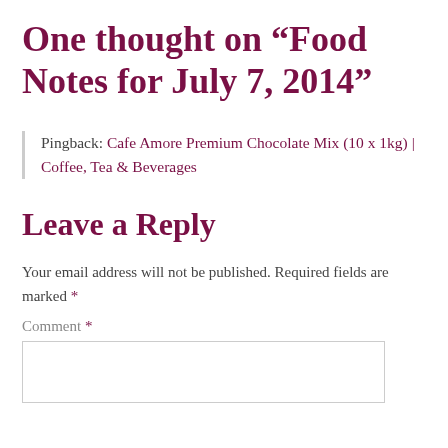One thought on “Food Notes for July 7, 2014”
Pingback: Cafe Amore Premium Chocolate Mix (10 x 1kg) | Coffee, Tea & Beverages
Leave a Reply
Your email address will not be published. Required fields are marked *
Comment *